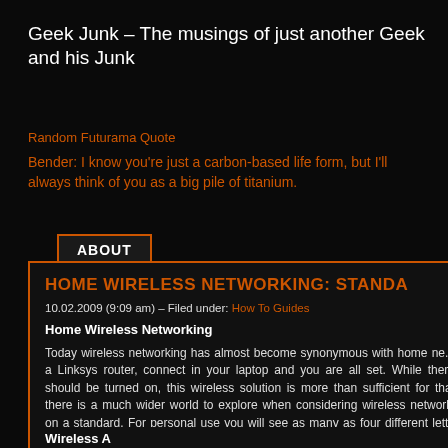Geek Junk – The musings of just another Geek and his Junk
Random Futurama Quote
Bender: I know you're just a carbon-based life form, but I'll always think of you as a big pile of titanium.
ABOUT
HOME WIRELESS NETWORKING: STANDA
10.02.2009 (9:09 am) – Filed under: How To Guides
Home Wireless Networking
Today wireless networking has almost become synonymous with home ne... a Linksys router, connect in your laptop and you are all set. While there should be turned on, this wireless solution is more than sufficient for that there is a much wider world to explore when considering wireless networki on a standard. For personal use you will see as many as four different letto B, G, and N, but to the laymen, these terms mean nothing more then a spoc
Wireless A